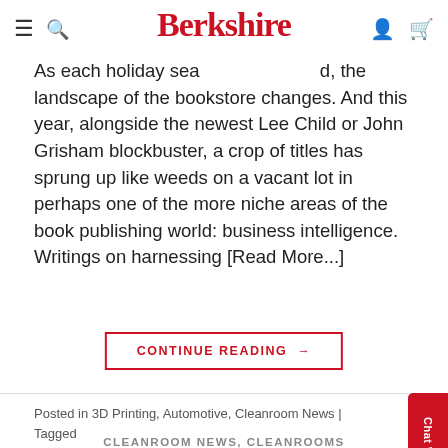Berkshire
As each holiday season approaches, the landscape of the bookstore changes. And this year, alongside the newest Lee Child or John Grisham blockbuster, a crop of titles has sprung up like weeds on a vacant lot in perhaps one of the more niche areas of the book publishing world: business intelligence. Writings on harnessing [Read More...]
CONTINUE READING →
Posted in 3D Printing, Automotive, Cleanroom News | Tagged 3D Printing, Automotive   1 Comment
CLEANROOM NEWS, CLEANROOMS
How Will Concept Cars Get Us to Mars?